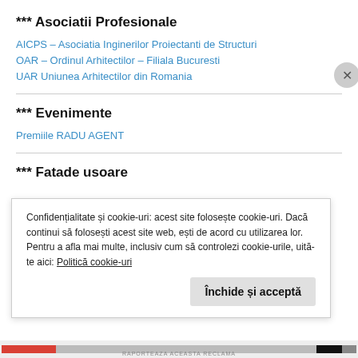*** Asociatii Profesionale
AICPS – Asociatia Inginerilor Proiectanti de Structuri
OAR – Ordinul Arhitectilor – Filiala Bucuresti
UAR Uniunea Arhitectilor din Romania
*** Evenimente
Premiile RADU AGENT
*** Fatade usoare
Confidențialitate și cookie-uri: acest site folosește cookie-uri. Dacă continui să folosești acest site web, ești de acord cu utilizarea lor. Pentru a afla mai multe, inclusiv cum să controlezi cookie-urile, uită-te aici: Politică cookie-uri
Închide și acceptă